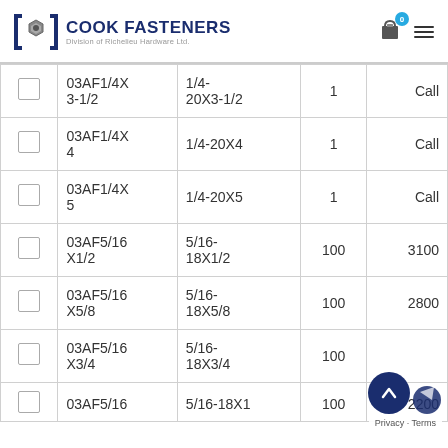Cook Fasteners — Division of Richelieu Hardware Ltd.
|  | SKU | Description | Qty | Price |
| --- | --- | --- | --- | --- |
|  | 03AF1/4X3-1/2 | 1/4-20X3-1/2 | 1 | Call |
|  | 03AF1/4X4 | 1/4-20X4 | 1 | Call |
|  | 03AF1/4X5 | 1/4-20X5 | 1 | Call |
|  | 03AF5/16X1/2 | 5/16-18X1/2 | 100 | 3100 |
|  | 03AF5/16X5/8 | 5/16-18X5/8 | 100 | 2800 |
|  | 03AF5/16X3/4 | 5/16-18X3/4 | 100 |  |
|  | 03AF5/16... | 5/16-18X1 | 100 | 2200 |